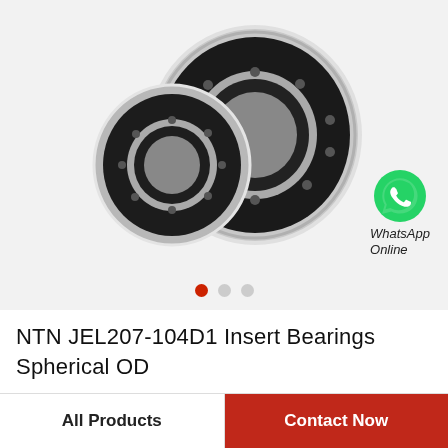[Figure (photo): Two NTN insert bearings with spherical OD — one smaller and one larger, shown side by side on a light grey background. A WhatsApp online icon appears in the lower right of the image area.]
WhatsApp Online
• • •  (image carousel dots: first active red, two grey)
NTN JEL207-104D1 Insert Bearings Spherical OD
All Products
Contact Now